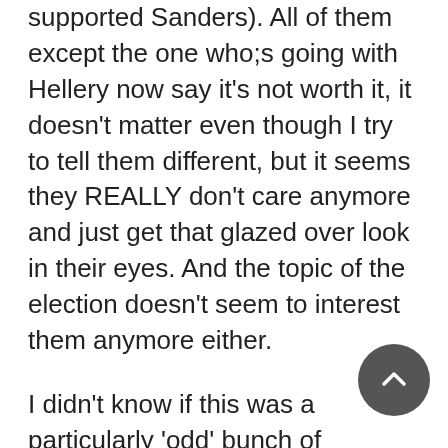supported Sanders). All of them except the one who;s going with Hellery now say it's not worth it, it doesn't matter even though I try to tell them different, but it seems they REALLY don't care anymore and just get that glazed over look in their eyes. And the topic of the election doesn't seem to interest them anymore either.
I didn't know if this was a particularly 'odd' bunch of millennials or if they are representative of the whole. I wish that the Dem primary hadn't turned out the way it did because they seem to be as jaded as I am about the whole system now, and that's pretty bad because I'm no spring chicken and have been playing the election game for about 40 years. It...